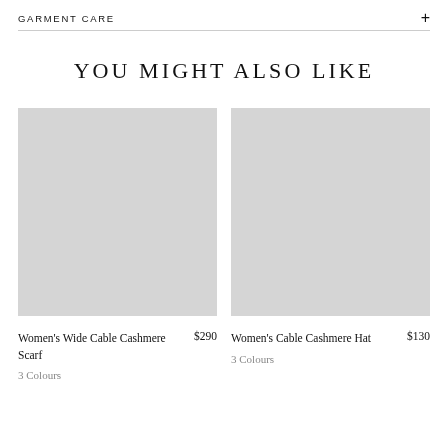GARMENT CARE
YOU MIGHT ALSO LIKE
[Figure (photo): Gray placeholder image for Women's Wide Cable Cashmere Scarf product]
Women's Wide Cable Cashmere Scarf $290
3 Colours
[Figure (photo): Gray placeholder image for Women's Cable Cashmere Hat product]
Women's Cable Cashmere Hat $130
3 Colours